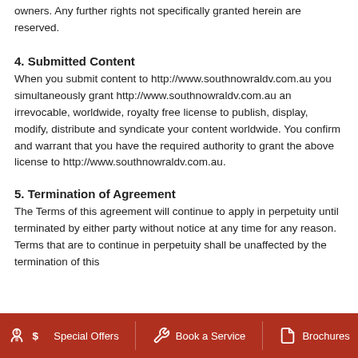owners. Any further rights not specifically granted herein are reserved.
4. Submitted Content
When you submit content to http://www.southnowraldv.com.au you simultaneously grant http://www.southnowraldv.com.au an irrevocable, worldwide, royalty free license to publish, display, modify, distribute and syndicate your content worldwide. You confirm and warrant that you have the required authority to grant the above license to http://www.southnowraldv.com.au.
5. Termination of Agreement
The Terms of this agreement will continue to apply in perpetuity until terminated by either party without notice at any time for any reason. Terms that are to continue in perpetuity shall be unaffected by the termination of this
Special Offers   Book a Service   Brochures